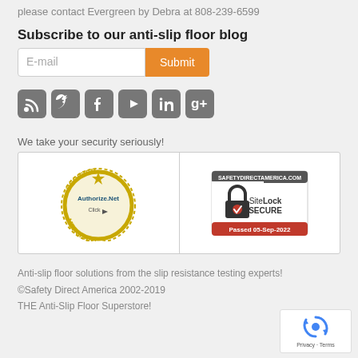please contact Evergreen by Debra at 808-239-6599
Subscribe to our anti-slip floor blog
[Figure (other): Email subscription form with E-mail input field and orange Submit button]
[Figure (other): Row of social media icons: RSS, Twitter, Facebook, YouTube, LinkedIn, Google+]
We take your security seriously!
[Figure (other): Security badges: Authorize.Net Verified Merchant and SiteLock Secure Passed 05-Sep-2022]
Anti-slip floor solutions from the slip resistance testing experts!
©Safety Direct America 2002-2019
THE Anti-Slip Floor Superstore!